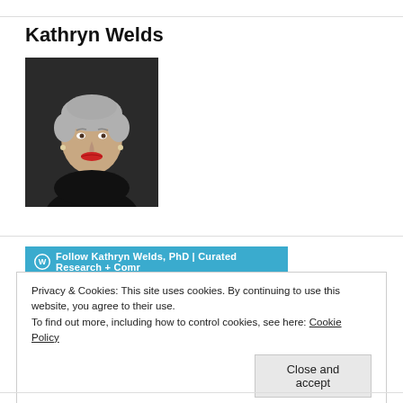Kathryn Welds
[Figure (photo): Professional headshot of Kathryn Welds, a woman with short gray hair and red lipstick, wearing a dark top, against a dark background.]
Follow Kathryn Welds, PhD | Curated Research + Comr
Privacy & Cookies: This site uses cookies. By continuing to use this website, you agree to their use.
To find out more, including how to control cookies, see here: Cookie Policy
Close and accept